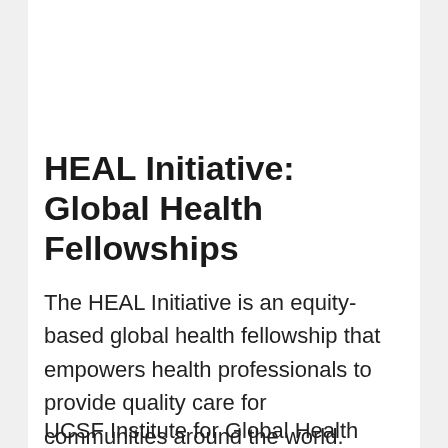HEAL Initiative: Global Health Fellowships
The HEAL Initiative is an equity-based global health fellowship that empowers health professionals to provide quality care for communities around the world. (17)…
UCSF Institute for Global Health